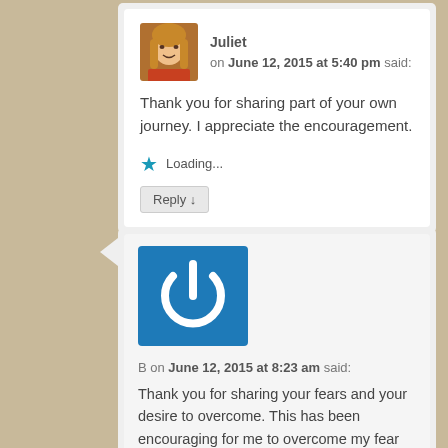[Figure (photo): Profile photo of Juliet, a woman with blonde hair wearing an orange top]
Juliet on June 12, 2015 at 5:40 pm said:
Thank you for sharing part of your own journey. I appreciate the encouragement.
Loading...
Reply ↓
[Figure (logo): Blue square with white power button symbol icon]
B on June 12, 2015 at 8:23 am said:
Thank you for sharing your fears and your desire to overcome. This has been encouraging for me to overcome my fear and come out of isolation so